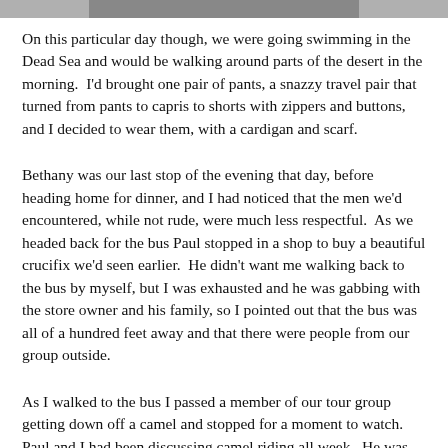[Figure (photo): Partial image strip at the top of the page, cropped photograph (grey/dark tones visible at bottom edge of image).]
On this particular day though, we were going swimming in the Dead Sea and would be walking around parts of the desert in the morning.  I'd brought one pair of pants, a snazzy travel pair that turned from pants to capris to shorts with zippers and buttons, and I decided to wear them, with a cardigan and scarf.
Bethany was our last stop of the evening that day, before heading home for dinner, and I had noticed that the men we'd encountered, while not rude, were much less respectful.  As we headed back for the bus Paul stopped in a shop to buy a beautiful crucifix we'd seen earlier.  He didn't want me walking back to the bus by myself, but I was exhausted and he was gabbing with the store owner and his family, so I pointed out that the bus was all of a hundred feet away and that there were people from our group outside.
As I walked to the bus I passed a member of our tour group getting down off a camel and stopped for a moment to watch.  Paul and I had been discussing camel riding all week.  He was adamant that it was dangerous.  I'm not sure,